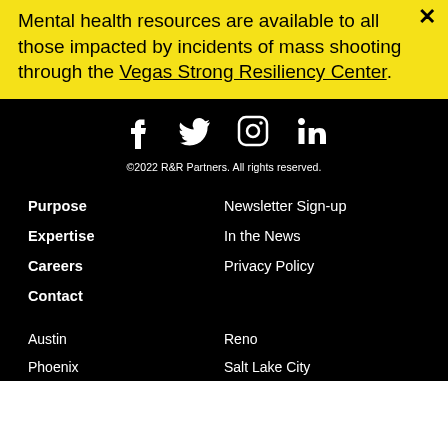Mental health resources are available to all those impacted by incidents of mass shooting through the Vegas Strong Resiliency Center.
[Figure (infographic): Social media icons: Facebook, Twitter, Instagram, LinkedIn on black background]
©2022 R&R Partners. All rights reserved.
Purpose
Newsletter Sign-up
Expertise
In the News
Careers
Privacy Policy
Contact
Austin
Reno
Phoenix
Salt Lake City